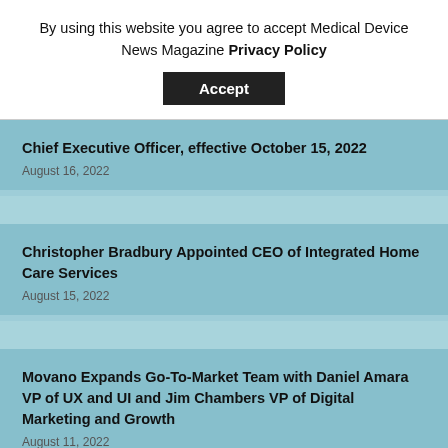By using this website you agree to accept Medical Device News Magazine Privacy Policy
Accept
Chief Executive Officer, effective October 15, 2022
August 16, 2022
Christopher Bradbury Appointed CEO of Integrated Home Care Services
August 15, 2022
Movano Expands Go-To-Market Team with Daniel Amara VP of UX and UI and Jim Chambers VP of Digital Marketing and Growth
August 11, 2022